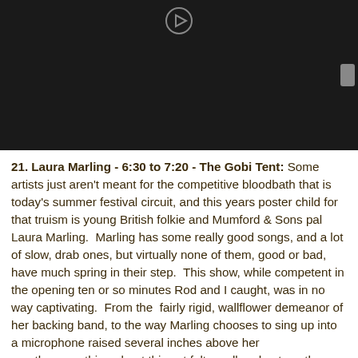[Figure (screenshot): Dark video player with play button icon at top center and a small scroll button on the right side]
21. Laura Marling - 6:30 to 7:20 - The Gobi Tent: Some artists just aren't meant for the competitive bloodbath that is today's summer festival circuit, and this years poster child for that truism is young British folkie and Mumford & Sons pal Laura Marling.  Marling has some really good songs, and a lot of slow, drab ones, but virtually none of them, good or bad, have much spring in their step.  This show, while competent in the opening ten or so minutes Rod and I caught, was in no way captivating.  From the  fairly rigid, wallflower demeanor of her backing band, to the way Marling chooses to sing up into a microphone raised several inches above her mouth...everything about this set felt small and not worth our attention.  Based upon similar reviews at